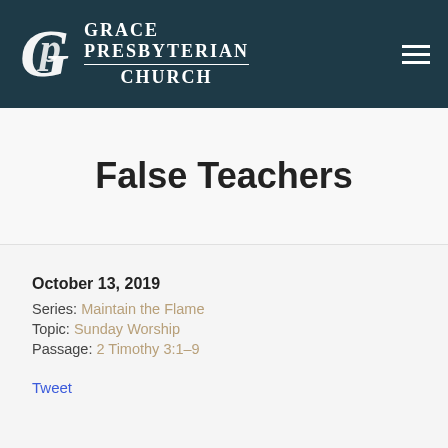[Figure (logo): Grace Presbyterian Church logo with stylized G P monogram and church name in white on dark teal header bar, with hamburger menu icon on right]
False Teachers
October 13, 2019
Series: Maintain the Flame
Topic: Sunday Worship
Passage: 2 Timothy 3:1–9
Tweet